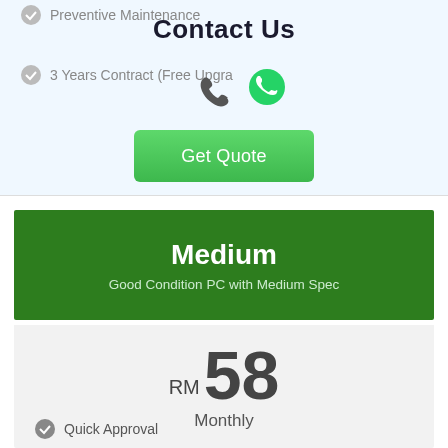Preventive Maintenance
Contact Us
3 Years Contract (Free Upgra...
[Figure (illustration): Phone handset icon and WhatsApp icon]
Get Quote
Medium
Good Condition PC with Medium Spec
RM 58 Monthly
Quick Approval